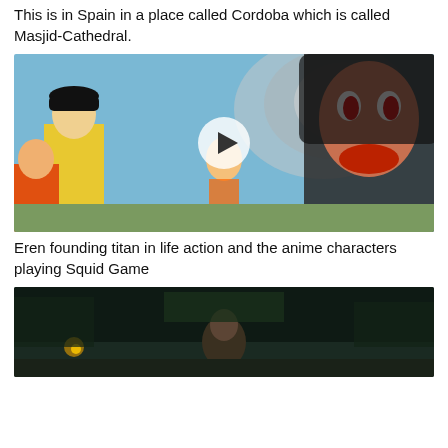This is in Spain in a place called Cordoba which is called Masjid-Cathedral.
[Figure (screenshot): Animated CGI scene showing anime characters including Eren's founding titan with long dark hair and red face markings, a character in a yellow outfit and baseball cap, Goku, and other anime figures appearing to play Squid Game, with a play button overlay in the center.]
Eren founding titan in life action and the anime characters playing Squid Game
[Figure (screenshot): Dark video thumbnail showing a person standing in a nighttime urban street scene with city lights visible in the background.]